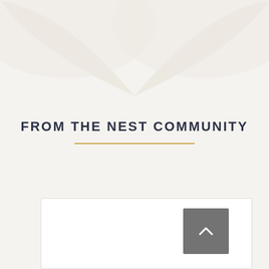[Figure (illustration): Decorative V-shape or chevron graphic at the top of the page in light cream/off-white tones]
FROM THE NEST COMMUNITY
[Figure (other): White card/panel at the bottom with a gray back-to-top button featuring an upward chevron arrow]